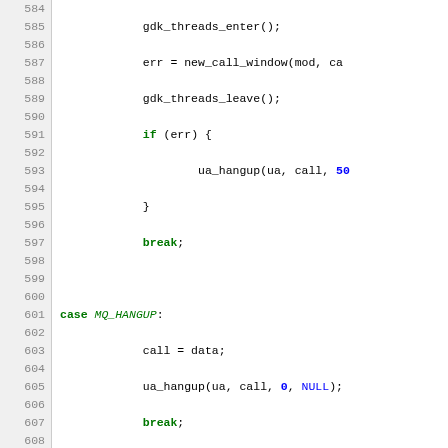[Figure (screenshot): Source code listing in C showing a switch-case block with cases MQ_HANGUP, MQ_QUIT, and MQ_ANSWER, with line numbers 584-614 visible on the left gutter.]